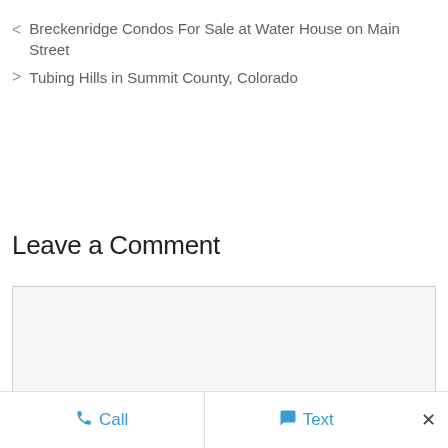< Breckenridge Condos For Sale at Water House on Main Street
> Tubing Hills in Summit County, Colorado
Leave a Comment
[Figure (screenshot): Empty comment text area input box with light gray background]
Call   Text   ×